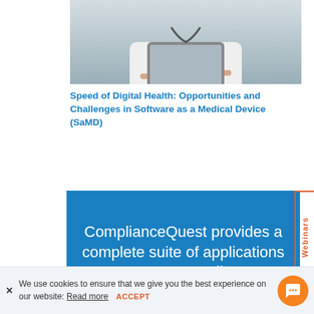[Figure (photo): A doctor in a white lab coat holding a tablet device, cropped to show torso and hands]
Speed of Digital Health: Opportunities and Challenges in Software as a Medical Device (SaMD)
ComplianceQuest provides a complete suite of applications to ensure compliance
Webinars
We use cookies to ensure that we give you the best experience on our website: Read more  ACCEPT